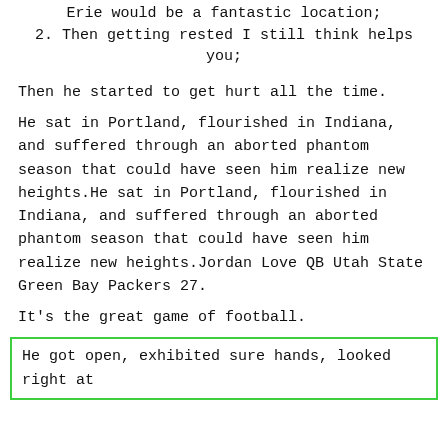Erie would be a fantastic location;
2. Then getting rested I still think helps you;
Then he started to get hurt all the time.
He sat in Portland, flourished in Indiana, and suffered through an aborted phantom season that could have seen him realize new heights.He sat in Portland, flourished in Indiana, and suffered through an aborted phantom season that could have seen him realize new heights.Jordan Love QB Utah State Green Bay Packers 27.
It's the great game of football.
He got open, exhibited sure hands, looked right at